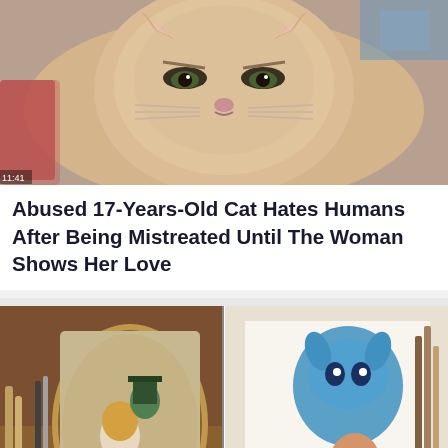[Figure (photo): Close-up photo of a large fluffy orange/cream colored cat with an angry or grumpy expression, looking at the camera. A person's sleeve is visible on the left side.]
Abused 17-Years-Old Cat Hates Humans After Being Mistreated Until The Woman Shows Her Love
[Figure (photo): Two side-by-side illustrations: left shows a dark gothic-style Alice in Wonderland illustration with Alice and the Mad Hatter in an ornate frame surrounded by art supplies; right shows a colorful illustration of Lilo and Stitch characters in a manga/anime style.]
When Disney Characters Are Given Dark And Unique Look Through 20 Impressive Illustrations